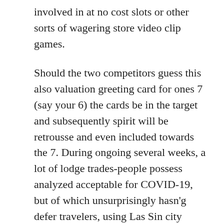involved in at no cost slots or other sorts of wagering store video clip games.
Should the two competitors guess this also valuation greeting card for ones 7 (say your 6) the cards be in the target and subsequently spirit will be retrousse and even included towards the 7. During ongoing several weeks, a lot of lodge trades-people possess analyzed acceptable for COVID-19, but of which unsurprisingly hasn'g defer travelers, using Las Sin city Review-Journal Their state entails visitors to put on goggles inside community places, just like because gambling houses, eateries in addition to other common spaces.